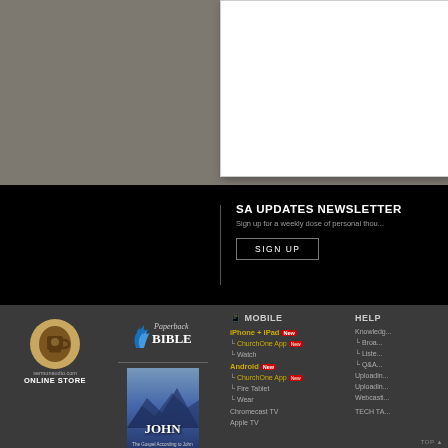[Figure (screenshot): Gray background area with white document/panel partially visible on right side]
SA UPDATES NEWSLETTER
Sign up for a weekly dose of personal thou...
SIGN UP
[Figure (logo): Paperback Bible logo with sail/flame icon]
[Figure (photo): sermonaudio.com ONLINE STORE - mug product photo]
[Figure (photo): Book cover: The Gospel According to John]
MOBILE
iPhone + iPad New
└ ChurchOne App New
└ Watch
Android New
└ ChurchOne App New
└ Fire Tablet
└ Wear
Chromecast TV
Apple TV
HELP
Knowledg...
└ Broa...
└ Liste...
└ Q&A...
Uploadin...
Uploadin...
Webcasti...
TECH TA...
TOP